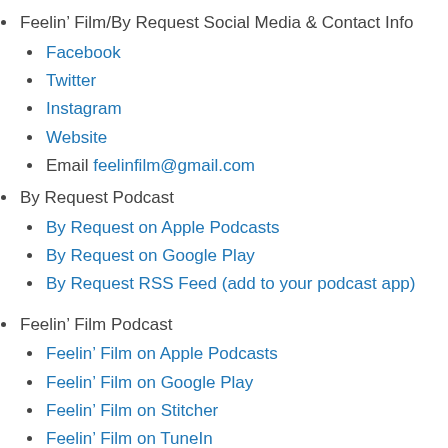Feelin’ Film/By Request Social Media & Contact Info
Facebook
Twitter
Instagram
Website
Email feelinfilm@gmail.com
By Request Podcast
By Request on Apple Podcasts
By Request on Google Play
By Request RSS Feed (add to your podcast app)
Feelin’ Film Podcast
Feelin’ Film on Apple Podcasts
Feelin’ Film on Google Play
Feelin’ Film on Stitcher
Feelin’ Film on TuneIn